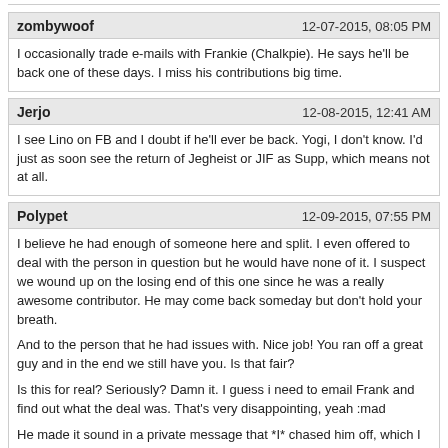zombywoof — 12-07-2015, 08:05 PM
I occasionally trade e-mails with Frankie (Chalkpie). He says he'll be back one of these days. I miss his contributions big time.
Jerjo — 12-08-2015, 12:41 AM
I see Lino on FB and I doubt if he'll ever be back. Yogi, I don't know. I'd just as soon see the return of Jegheist or JIF as Supp, which means not at all.
Polypet — 12-09-2015, 07:55 PM
I believe he had enough of someone here and split. I even offered to deal with the person in question but he would have none of it. I suspect we wound up on the losing end of this one since he was a really awesome contributor. He may come back someday but don't hold your breath.

And to the person that he had issues with. Nice job! You ran off a great guy and in the end we still have you. Is that fair?

Is this for real? Seriously? Damn it. I guess i need to email Frank and find out what the deal was. That's very disappointing, yeah :mad

He made it sound in a private message that *I* chased him off, which I think was quite an over-reaction to one post I made, honestly.

I can't imagine it would've been such a strong response to anything you said. You are never less than civil, in my experience. And he has a plenty tough skin. It must've been something especially grievous or completely different than we're all thinking ;)

It wasn't a mis-understanding. See the ROXY: THE MOVIE thread.